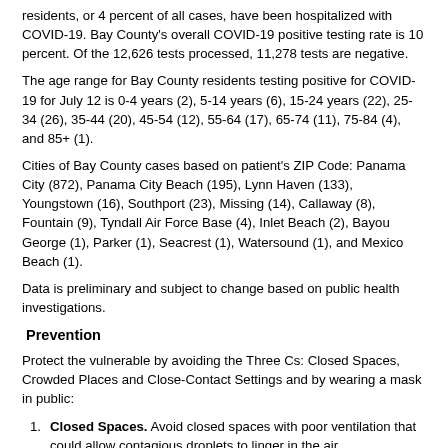residents, or 4 percent of all cases, have been hospitalized with COVID-19. Bay County's overall COVID-19 positive testing rate is 10 percent. Of the 12,626 tests processed, 11,278 tests are negative.
The age range for Bay County residents testing positive for COVID-19 for July 12 is 0-4 years (2), 5-14 years (6), 15-24 years (22), 25-34 (26), 35-44 (20), 45-54 (12), 55-64 (17), 65-74 (11), 75-84 (4), and 85+ (1).
Cities of Bay County cases based on patient's ZIP Code: Panama City (872), Panama City Beach (195), Lynn Haven (133), Youngstown (16), Southport (23), Missing (14), Callaway (8), Fountain (9), Tyndall Air Force Base (4), Inlet Beach (2), Bayou George (1), Parker (1), Seacrest (1), Watersound (1), and Mexico Beach (1).
Data is preliminary and subject to change based on public health investigations.
Prevention
Protect the vulnerable by avoiding the Three Cs: Closed Spaces, Crowded Places and Close-Contact Settings and by wearing a mask in public:
Closed Spaces. Avoid closed spaces with poor ventilation that could allow contagious droplets to linger in the air.
Crowded Places. Avoid crowded places with many people nearby; the greater the number of individuals in an area, the greater the chances of COVID-19 spreading from person-to-person.
Close-Contact Settings. Avoid close-range conversations and stay at least six-feet from others.
Testing
DOH-Bay is now testing anyone with symptoms of COVID-19. For